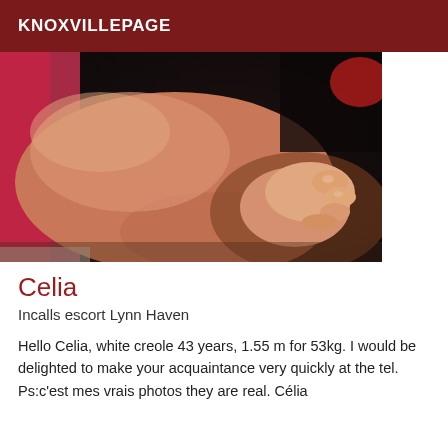KNOXVILLEPAGE
[Figure (photo): Close-up photo of a person's legs and hands clasped together, with warm skin tones, against a dark background. Person wearing a red/pink top visible at top.]
Celia
Incalls escort Lynn Haven
Hello Celia, white creole 43 years, 1.55 m for 53kg. I would be delighted to make your acquaintance very quickly at the tel. Ps:c'est mes vrais photos they are real. Célia